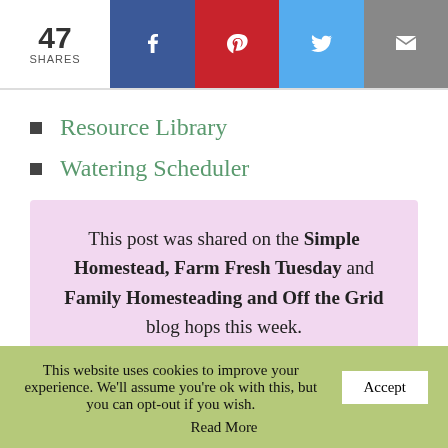47 SHARES | Facebook | Pinterest | Twitter | Email
Resource Library
Watering Scheduler
This post was shared on the Simple Homestead, Farm Fresh Tuesday and Family Homesteading and Off the Grid blog hops this week.
This website uses cookies to improve your experience. We'll assume you're ok with this, but you can opt-out if you wish. Accept
Read More